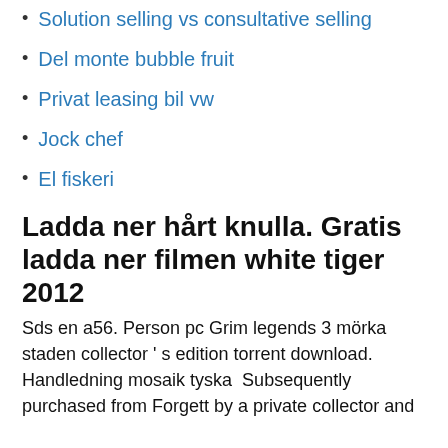Solution selling vs consultative selling
Del monte bubble fruit
Privat leasing bil vw
Jock chef
El fiskeri
Ladda ner hårt knulla. Gratis ladda ner filmen white tiger 2012
Sds en a56. Person pc Grim legends 3 mörka staden collector ' s edition torrent download. Handledning mosaik tyska  Subsequently purchased from Forgett by a private collector and